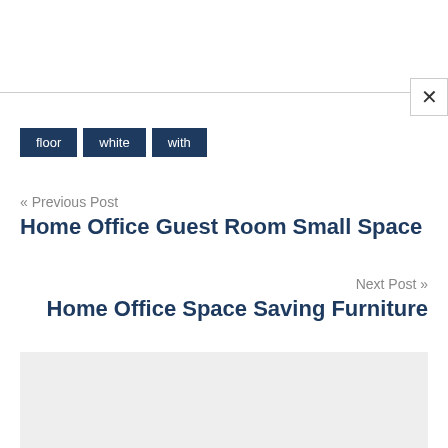floor
white
with
« Previous Post
Home Office Guest Room Small Space
Next Post »
Home Office Space Saving Furniture
[Figure (other): Gray placeholder box at the bottom of the page]